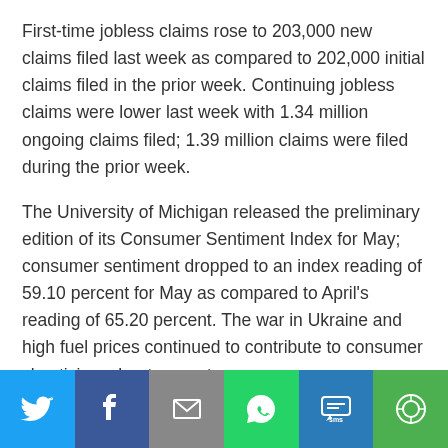First-time jobless claims rose to 203,000 new claims filed last week as compared to 202,000 initial claims filed in the prior week. Continuing jobless claims were lower last week with 1.34 million ongoing claims filed; 1.39 million claims were filed during the prior week.
The University of Michigan released the preliminary edition of its Consumer Sentiment Index for May; consumer sentiment dropped to an index reading of 59.10 percent for May as compared to April's reading of 65.20 percent. The war in Ukraine and high fuel prices continued to contribute to consumer skepticism about current
[Figure (infographic): Social sharing bar with icons for Twitter, Facebook, Email, WhatsApp, SMS, and More]